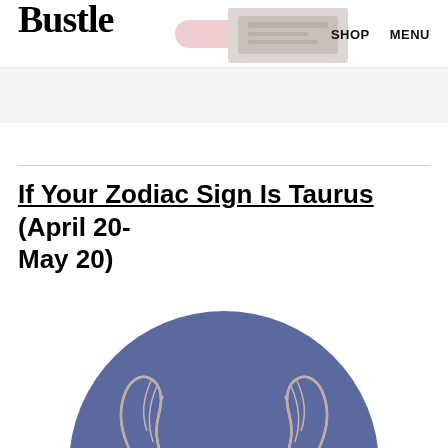Bustle  SHOP  MENU
If Your Zodiac Sign Is Taurus (April 20-May 20)
[Figure (illustration): Circular illustration with blue-purple background showing the Taurus zodiac symbol — a bull's head with decorative curved horns and a pale face, rendered in a flat graphic style]